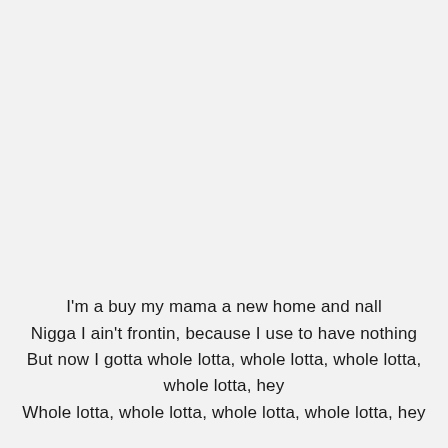I'm a buy my mama a new home and nall
Nigga I ain't frontin, because I use to have nothing
But now I gotta whole lotta, whole lotta, whole lotta, whole lotta, hey
Whole lotta, whole lotta, whole lotta, whole lotta, hey